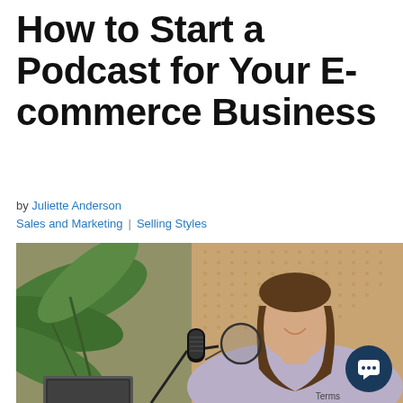How to Start a Podcast for Your E-commerce Business
by Juliette Anderson
Sales and Marketing | Selling Styles
[Figure (photo): A woman with long brown hair sitting at a desk speaking into a professional podcast microphone with a pop filter, smiling, wearing a light purple sweater. There is a laptop in front of her and a large green plant in the background against a rattan/wicker wall panel. A chat widget button appears in the bottom right corner.]